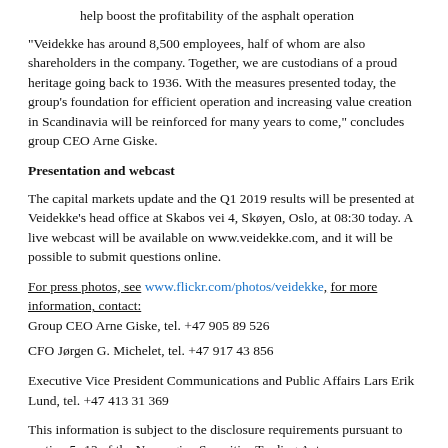help boost the profitability of the asphalt operation
“Veidekke has around 8,500 employees, half of whom are also shareholders in the company. Together, we are custodians of a proud heritage going back to 1936. With the measures presented today, the group’s foundation for efficient operation and increasing value creation in Scandinavia will be reinforced for many years to come,” concludes group CEO Arne Giske.
Presentation and webcast
The capital markets update and the Q1 2019 results will be presented at Veidekke’s head office at Skabos vei 4, Skøyen, Oslo, at 08:30 today. A live webcast will be available on www.veidekke.com, and it will be possible to submit questions online.
For press photos, see www.flickr.com/photos/veidekke, for more information, contact:
Group CEO Arne Giske, tel. +47 905 89 526
CFO Jørgen G. Michelet, tel. +47 917 43 856
Executive Vice President Communications and Public Affairs Lars Erik Lund, tel. +47 413 31 369
This information is subject to the disclosure requirements pursuant to section 5 -12 of the Norwegian Securities Trading Act.
Subscribe to notices from Veidekke
Veidekke is one of Scandinavia’s largest construction and property